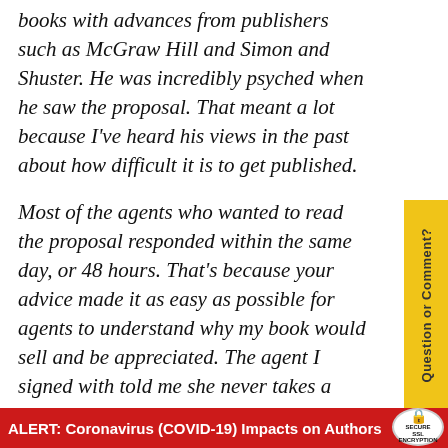books with advances from publishers such as McGraw Hill and Simon and Shuster. He was incredibly psyched when he saw the proposal. That meant a lot because I've heard his views in the past about how difficult it is to get published.
Most of the agents who wanted to read the proposal responded within the same day, or 48 hours. That's because your advice made it as easy as possible for agents to understand why my book would sell and be appreciated. The agent I signed with told me she never takes a client whose proposal needs massive reworking, so I'm glad [redacted] nt
ALERT: Coronavirus (COVID-19) Impacts on Authors